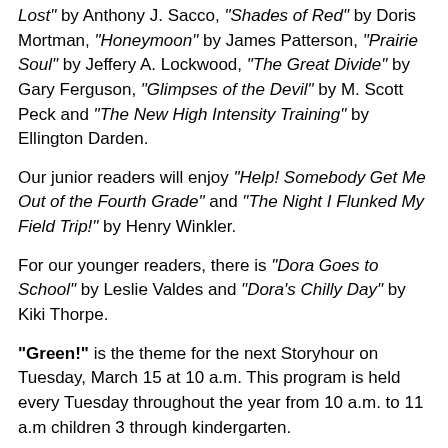Lost" by Anthony J. Sacco, "Shades of Red" by Doris Mortman, "Honeymoon" by James Patterson, "Prairie Soul" by Jeffery A. Lockwood, "The Great Divide" by Gary Ferguson, "Glimpses of the Devil" by M. Scott Peck and "The New High Intensity Training" by Ellington Darden.
Our junior readers will enjoy "Help! Somebody Get Me Out of the Fourth Grade" and "The Night I Flunked My Field Trip!" by Henry Winkler.
For our younger readers, there is "Dora Goes to School" by Leslie Valdes and "Dora's Chilly Day" by Kiki Thorpe.
"Green!" is the theme for the next Storyhour on Tuesday, March 15 at 10 a.m. This program is held every Tuesday throughout the year from 10 a.m. to 11 a.m children 3 through kindergarten.
Check out this month's Storyhour Schedule